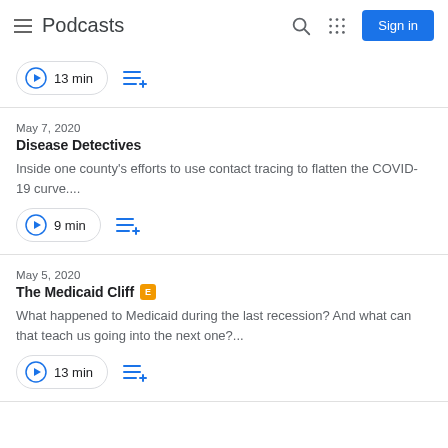Podcasts
13 min
May 7, 2020
Disease Detectives
Inside one county's efforts to use contact tracing to flatten the COVID-19 curve....
9 min
May 5, 2020
The Medicaid Cliff
What happened to Medicaid during the last recession? And what can that teach us going into the next one?...
13 min